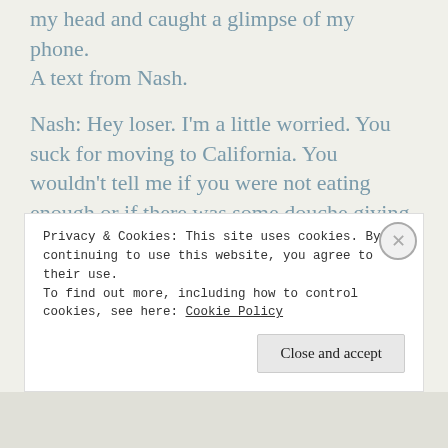On a Monday. I thought. I put my pillow over my head and caught a glimpse of my phone. A text from Nash.
Nash: Hey loser. I'm a little worried. You suck for moving to California. You wouldn't tell me if you were not eating enough or if there was some douche giving you a hard time.
He threw me into I was in the middle of
Privacy & Cookies: This site uses cookies. By continuing to use this website, you agree to their use.
To find out more, including how to control cookies, see here: Cookie Policy